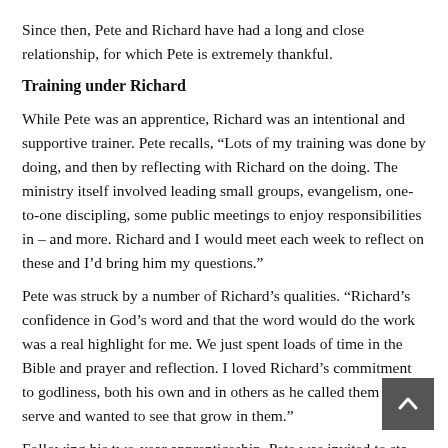Since then, Pete and Richard have had a long and close relationship, for which Pete is extremely thankful.
Training under Richard
While Pete was an apprentice, Richard was an intentional and supportive trainer. Pete recalls, “Lots of my training was done by doing, and then by reflecting with Richard on the doing. The ministry itself involved leading small groups, evangelism, one-to-one discipling, some public meetings to enjoy responsibilities in – and more. Richard and I would meet each week to reflect on these and I’d bring him my questions.”
Pete was struck by a number of Richard’s qualities. “Richard’s confidence in God’s word and that the word would do the work was a real highlight for me. We just spent loads of time in the Bible and prayer and reflection. I loved Richard’s commitment to godliness, both his own and in others as he called them to serve and wanted to see that grow in them.”
Following his two-year apprenticeship, Pete was invited to stay a third year to help the team at Wollongong transition, because Richard had been appointed the new National Director of AFES.